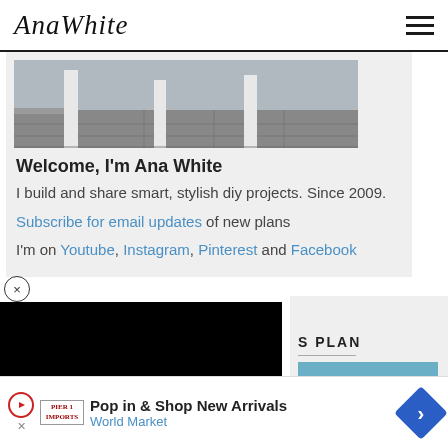AnaWhite
[Figure (photo): Partial outdoor photo showing white posts and concrete paved patio area]
Welcome, I'm Ana White
I build and share smart, stylish diy projects. Since 2009.
Subscribe for email updates of new plans
I'm on Youtube, Instagram, Pinterest and Facebook
[Figure (screenshot): Black video overlay covering lower left portion of screen]
S PLAN
[Figure (photo): Partial teal/blue colored project photo]
Pop in & Shop New Arrivals
World Market